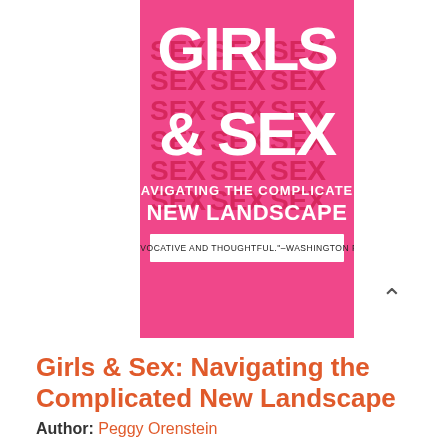[Figure (illustration): Book cover for 'Girls & Sex: Navigating the Complicated New Landscape' by Peggy Orenstein. Pink background with large white bold text 'GIRLS & SEX' and below 'NAVIGATING THE COMPLICATED NEW LANDSCAPE'. A red decorative pattern with the word SEX repeated fills the background. A white banner at the bottom reads: "PROVOCATIVE AND THOUGHTFUL." -WASHINGTON POST]
Girls & Sex: Navigating the Complicated New Landscape
Author: Peggy Orenstein